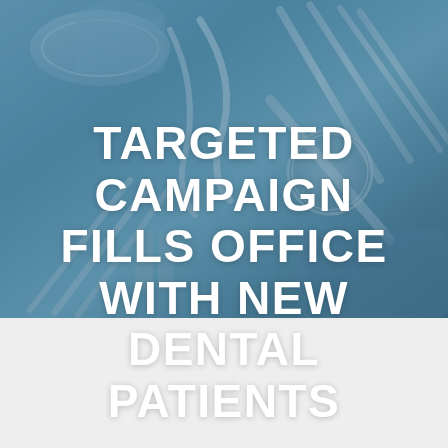[Figure (photo): Blue-toned photo of dental instruments including a mouth mirror, explorers, scalers, and other metal tools arranged on a blue surface, with a dental tray/mold visible in the background. A semi-transparent blue overlay tints the entire image.]
TARGETED CAMPAIGN FILLS OFFICE WITH NEW DENTAL PATIENTS